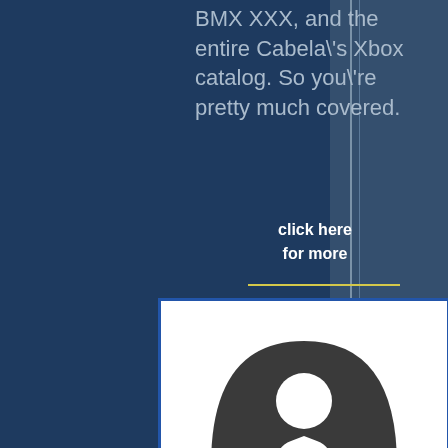BMX XXX, and the entire Cabela\'s Xbox catalog. So you\'re pretty much covered.
click here for more
[Figure (logo): Lost Garden logo: dark semicircular shape with white circle cutout above a pedestal shape, with text LOST GARDEN below]
Lost Garden Challenges Conventional